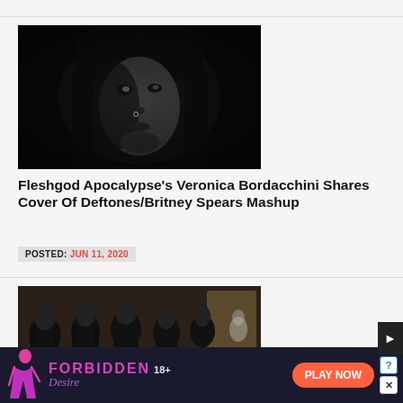[Figure (photo): Black and white close-up portrait of a woman with dark hair and a nose piercing, dramatic low-key lighting]
Fleshgod Apocalypse’s Veronica Bordacchini Shares Cover Of Deftones/Britney Spears Mashup
POSTED: JUN 11, 2020
[Figure (photo): Band photo showing multiple people with long dark hair in an ornate interior setting]
[Figure (advertisement): Forbidden Desire 18+ advertisement with Play Now button]